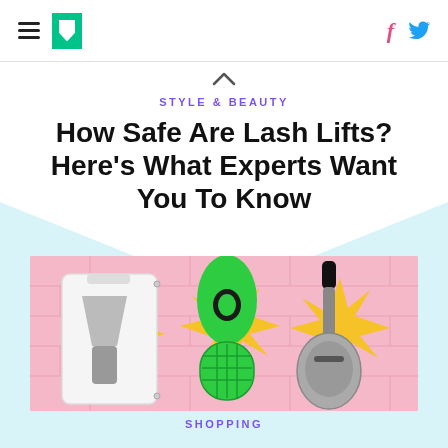HuffPost navigation header with hamburger menu, logo, Facebook and Twitter icons
STYLE & BEAUTY
How Safe Are Lash Lifts? Here's What Experts Want You To Know
[Figure (photo): Kitchen gadgets on a pink brick background: a mandoline slicer, a green avocado slicer/pitter tool, and a silver ice cream scoop, each backed by a yellow starburst graphic]
SHOPPING